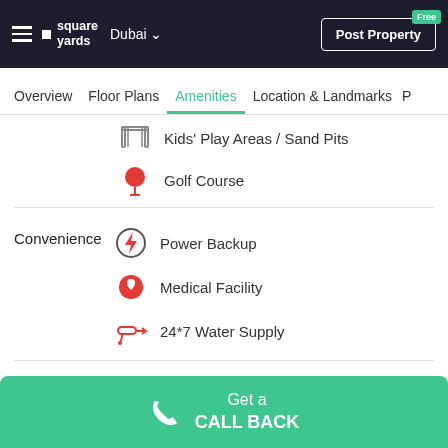square yards | Dubai | Post Property
Overview  Floor Plans  Amenities  Location & Landmarks  P
Kids' Play Areas / Sand Pits
Golf Course
Convenience
Power Backup
Medical Facility
24*7 Water Supply
Safety
24 x 7 Security
Environment
Normal Park / Central Green
Get a CALL BACK